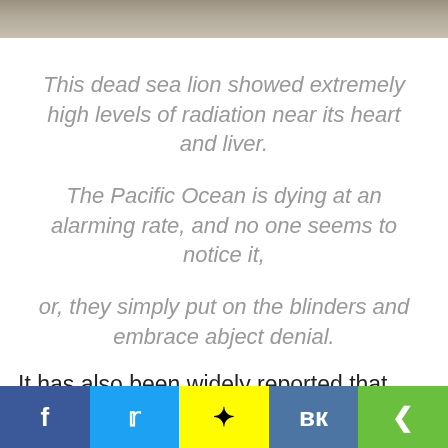[Figure (photo): Top strip showing a partial photo of a rocky/sandy surface, likely a beach]
This dead sea lion showed extremely high levels of radiation near its heart and liver.

The Pacific Ocean is dying at an alarming rate, and no one seems to notice it,

or, they simply put on the blinders and embrace abject denial.
It has also been widely reported that
[Figure (infographic): Social media sharing bar with Facebook, Twitter, Snapchat, VK, and Share buttons]